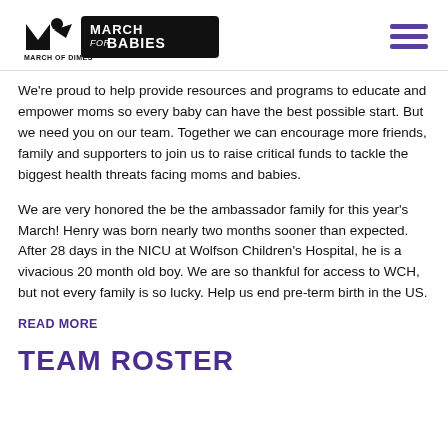March of Dimes — March for Babies logo and navigation
We're proud to help provide resources and programs to educate and empower moms so every baby can have the best possible start. But we need you on our team. Together we can encourage more friends, family and supporters to join us to raise critical funds to tackle the biggest health threats facing moms and babies.
We are very honored the be the ambassador family for this year's March! Henry was born nearly two months sooner than expected. After 28 days in the NICU at Wolfson Children's Hospital, he is a vivacious 20 month old boy. We are so thankful for access to WCH, but not every family is so lucky. Help us end pre-term birth in the US.
READ MORE
TEAM ROSTER